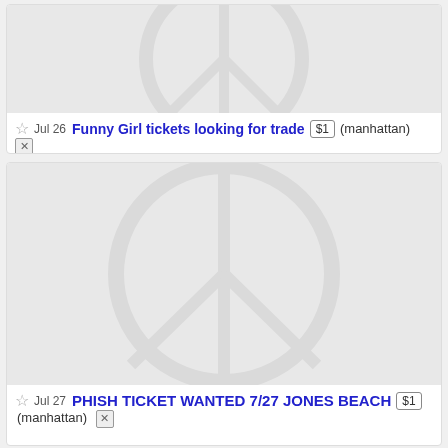[Figure (illustration): Craigslist placeholder image with peace sign symbol on light gray background (partial, top listing)]
Jul 26  Funny Girl tickets looking for trade  $1  (manhattan)
[Figure (illustration): Craigslist placeholder image with peace sign symbol on light gray background (second listing)]
Jul 27  PHISH TICKET WANTED 7/27 JONES BEACH  $1  (manhattan)